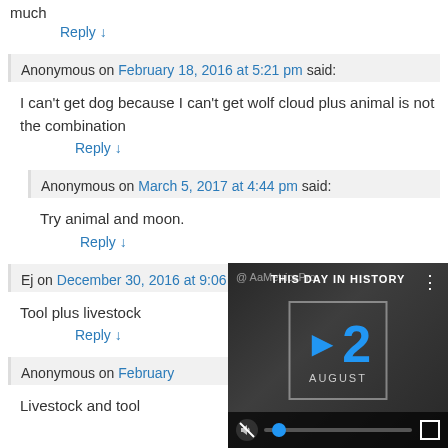much
Reply ↓
Anonymous on February 18, 2016 at 5:21 pm said:
I can't get dog because I can't get wolf cloud plus animal is not the combination
Reply ↓
Anonymous on March 5, 2017 at 4:44 pm said:
Try animal and moon.
Reply ↓
Ej on December 30, 2016 at 9:06 pm said:
Tool plus livestock
Reply ↓
Anonymous on February
Livestock and tool
[Figure (screenshot): Video player overlay showing 'This Day in History' with a play button, the number 12 in blue, 'August' text, mute/unmute button, progress bar with blue dot, and fullscreen icon. Background shows blurred faces of people.]